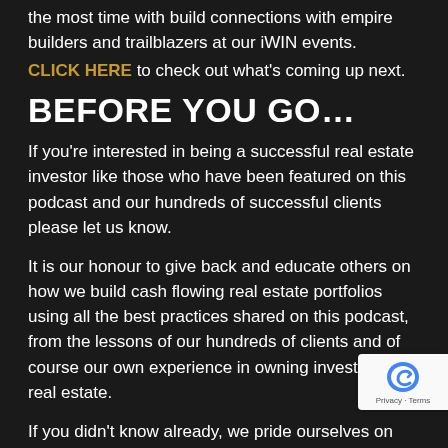the most time with build connections with empire builders and trailblazers at our iWIN events.
CLICK HERE to check out what's coming up next.
BEFORE YOU GO…
If you're interested in being a successful real estate investor like those who have been featured on this podcast and our hundreds of successful clients please let us know.
It is our honour to give back and educate others on how we build cash flowing real estate portfolios using all the best practices shared on this podcast, from the lessons of our hundreds of clients and of course our own experience in owning investment real estate.
If you didn't know already, we pride ourselves on
[Figure (other): Google reCAPTCHA badge with 'Privacy - Terms' text]